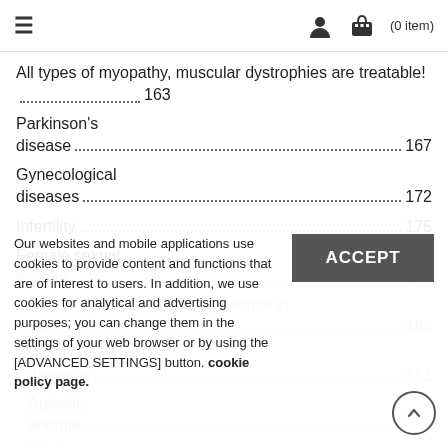≡   [user icon]   [cart icon] (0 item)
All types of myopathy, muscular dystrophies are treatable! .................163
Parkinson's disease .......................................................................167
Gynecological diseases ..................................................................172
Infertility ......................................................................................175
Female sexual frigidity..................................................................178
Sexual dysfunction and impotence in men .................................182
Urinary track diseases ..................................................................183
Aplastic anemia.............................................................................185
Joint diseases .................................................................................186
Our websites and mobile applications use cookies to provide content and functions that are of interest to users. In addition, we use cookies for analytical and advertising purposes; you can change them in the settings of your web browser or by using the [ADVANCED SETTINGS] button. cookie policy page.